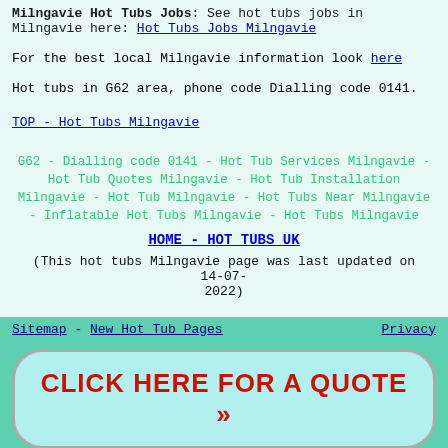Milngavie Hot Tubs Jobs: See hot tubs jobs in Milngavie here: Hot Tubs Jobs Milngavie
For the best local Milngavie information look here
Hot tubs in G62 area, phone code Dialling code 0141.
TOP - Hot Tubs Milngavie
G62 - Dialling code 0141 - Hot Tub Services Milngavie - Hot Tub Quotes Milngavie - Hot Tub Installation Milngavie - Hot Tub Milngavie - Hot Tubs Near Milngavie - Inflatable Hot Tubs Milngavie - Hot Tubs Milngavie
HOME - HOT TUBS UK
(This hot tubs Milngavie page was last updated on 14-07-2022)
Sitemap - New Hot Tub Pages    Privacy
[Figure (infographic): Click Here For A Quote button banner with red bold text on light blue rounded rectangle background]
By using this website you are agreeing
[Figure (infographic): Social share bar with share count 0 SHARES, Facebook, Twitter, Email, Pinterest, and More buttons]